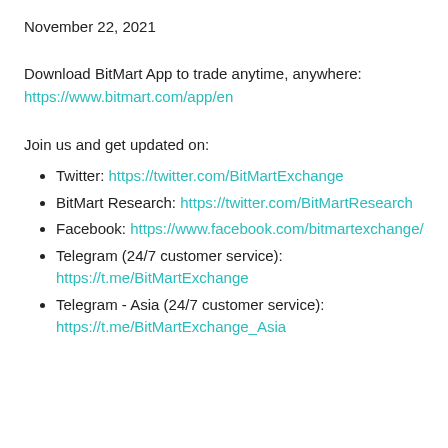November 22, 2021
Download BitMart App to trade anytime, anywhere: https://www.bitmart.com/app/en
Join us and get updated on:
Twitter: https://twitter.com/BitMartExchange
BitMart Research: https://twitter.com/BitMartResearch
Facebook: https://www.facebook.com/bitmartexchange/
Telegram (24/7 customer service): https://t.me/BitMartExchange
Telegram - Asia (24/7 customer service): https://t.me/BitMartExchange_Asia